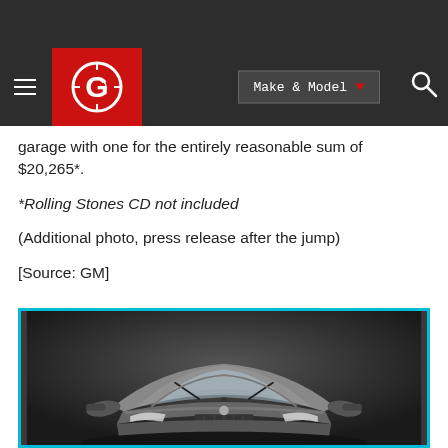Autoblog navigation header with logo, Make & Model selector, and search
garage with one for the entirely reasonable sum of $20,265*.
*Rolling Stones CD not included
(Additional photo, press release after the jump)
[Source: GM]
[Figure (photo): Front view of a silver/grey GM automobile against a dark gradient background, showing windshield, wipers, and side mirrors]